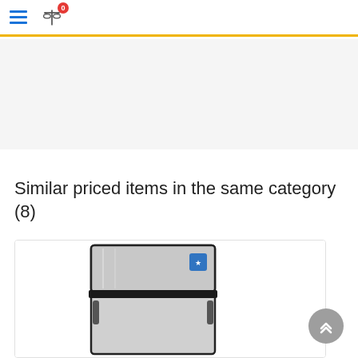Navigation header with hamburger menu and compare icon (0 items)
[Figure (other): Advertisement/banner area, light gray background]
Similar priced items in the same category (8)
[Figure (photo): Stainless steel top-freezer refrigerator product photo inside a white card with border]